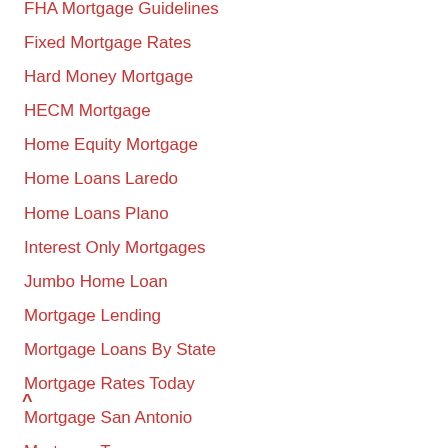FHA Mortgage Guidelines
Fixed Mortgage Rates
Hard Money Mortgage
HECM Mortgage
Home Equity Mortgage
Home Loans Laredo
Home Loans Plano
Interest Only Mortgages
Jumbo Home Loan
Mortgage Lending
Mortgage Loans By State
Mortgage Rates Today
Mortgage San Antonio
Mortgage Texas